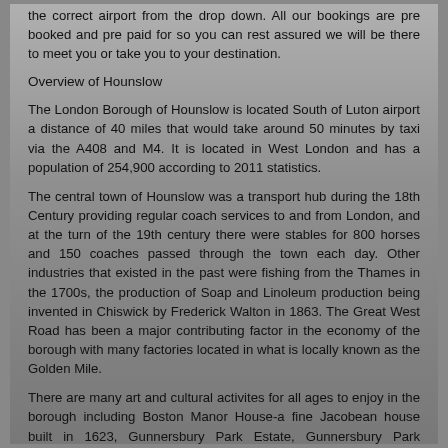the correct airport from the drop down. All our bookings are pre booked and pre paid for so you can rest assured we will be there to meet you or take you to your destination.
Overview of Hounslow
The London Borough of Hounslow is located South of Luton airport a distance of 40 miles that would take around 50 minutes by taxi via the A408 and M4. It is located in West London and has a population of 254,900 according to 2011 statistics.
The central town of Hounslow was a transport hub during the 18th Century providing regular coach services to and from London, and at the turn of the 19th century there were stables for 800 horses and 150 coaches passed through the town each day. Other industries that existed in the past were fishing from the Thames in the 1700s, the production of Soap and Linoleum production being invented in Chiswick by Frederick Walton in 1863. The Great West Road has been a major contributing factor in the economy of the borough with many factories located in what is locally known as the Golden Mile.
There are many art and cultural activites for all ages to enjoy in the borough including Boston Manor House-a fine Jacobean house built in 1623, Gunnersbury Park Estate, Gunnersbury Park Museum, Hogarths House, The Paul Robeson Theatre and Redlees Art Studio.